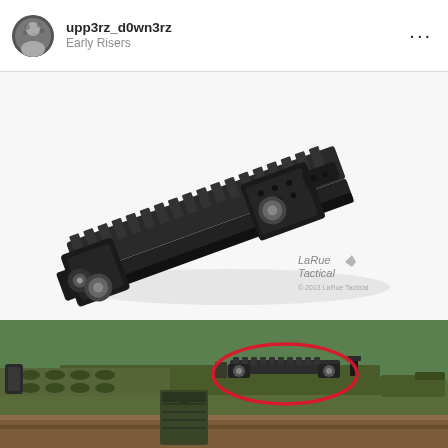upp3rz_d0wn3rz
Early Risers
[Figure (photo): Product photo of a black tactical Picatinny rail riser mount with quick-detach levers, on white background. LaRue Tactical logo and copyright watermark visible.]
[Figure (photo): Close-up photo of an olive drab tactical rifle with a red circle highlighting a rail riser mount installed on the upper receiver.]